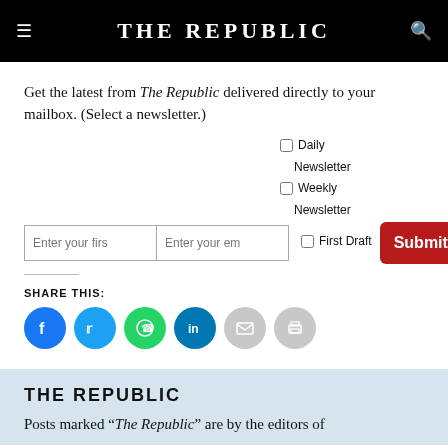THE REPUBLIC
Get the latest from The Republic delivered directly to your mailbox. (Select a newsletter.)
[Figure (screenshot): Newsletter signup form with two text inputs (Enter your first name, Enter your email), three checkboxes (Daily Newsletter, Weekly Newsletter, First Draft), and a red Submit button]
SHARE THIS:
[Figure (infographic): Row of social share icons: Facebook (blue), Twitter (light blue), WhatsApp (green), LinkedIn (teal), Email (grey), Print (grey)]
THE REPUBLIC
Posts marked "The Republic" are by the editors of